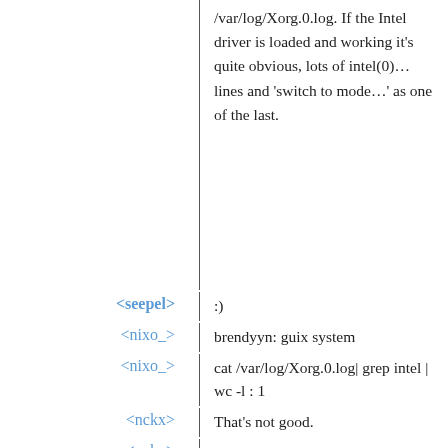/var/log/Xorg.0.log. If the Intel driver is loaded and working it's quite obvious, lots of intel(0)… lines and 'switch to mode…' as one of the last.
<seepel>: :)
<nixo_>: brendyyn: guix system
<nixo_>: cat /var/log/Xorg.0.log| grep intel | wc -l : 1
<nckx>: That's not good.
<nckx>: (I'm sure there's a much better 'which driver am I using?' command but